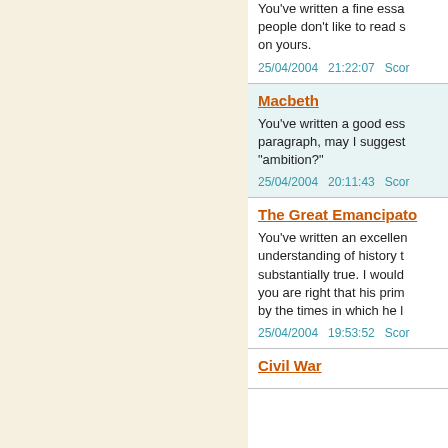You've written a fine essay. people don't like to read s on yours.
25/04/2004   21:22:07   Scor
Macbeth
You've written a good ess paragraph, may I suggest "ambition?"
25/04/2004   20:11:43   Scor
The Great Emancipato
You've written an excellen understanding of history t substantially true. I would you are right that his prim by the times in which he l
25/04/2004   19:53:52   Scor
Civil War